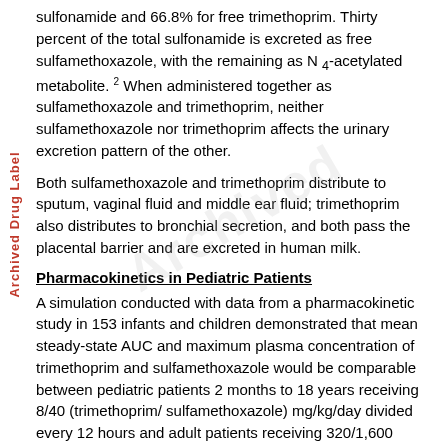sulfonamide and 66.8% for free trimethoprim. Thirty percent of the total sulfonamide is excreted as free sulfamethoxazole, with the remaining as N 4-acetylated metabolite. 2 When administered together as sulfamethoxazole and trimethoprim, neither sulfamethoxazole nor trimethoprim affects the urinary excretion pattern of the other.
Both sulfamethoxazole and trimethoprim distribute to sputum, vaginal fluid and middle ear fluid; trimethoprim also distributes to bronchial secretion, and both pass the placental barrier and are excreted in human milk.
Pharmacokinetics in Pediatric Patients
A simulation conducted with data from a pharmacokinetic study in 153 infants and children demonstrated that mean steady-state AUC and maximum plasma concentration of trimethoprim and sulfamethoxazole would be comparable between pediatric patients 2 months to 18 years receiving 8/40 (trimethoprim/ sulfamethoxazole) mg/kg/day divided every 12 hours and adult patients receiving 320/1,600 (trimethoprim/ sulfamethoxazole) mg/day.
Pharmacokinetics in Geriatric Patients
The pharmacokinetics of sulfamethoxazole 800 mg and trimethoprim 160 mg were studied in 6 geriatric subjects (age greater 70 for age) and 6 young healthy subjects (